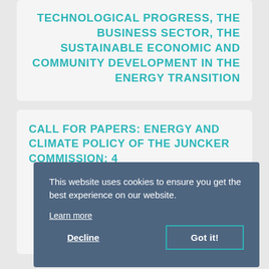TECHNOLOGICAL PROGRESS, THE BUSINESS SECTOR, THE SUSTAINABLE ECONOMIC AND COMMUNITY DEVELOPMENT IN THE ENERGY TRANSITION
CALL FOR PAPERS: ENERGY AND CLIMATE POLICY OF THE JUNCKER COMMISSION: 4
This website uses cookies to ensure you get the best experience on our website.
Learn more
Decline
Got it!
THE MEMBER STATES